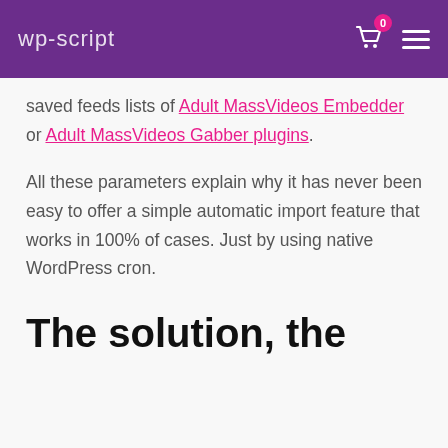wp-script
saved feeds lists of Adult MassVideos Embedder or Adult MassVideos Gabber plugins.
All these parameters explain why it has never been easy to offer a simple automatic import feature that works in 100% of cases. Just by using native WordPress cron.
The solution, the